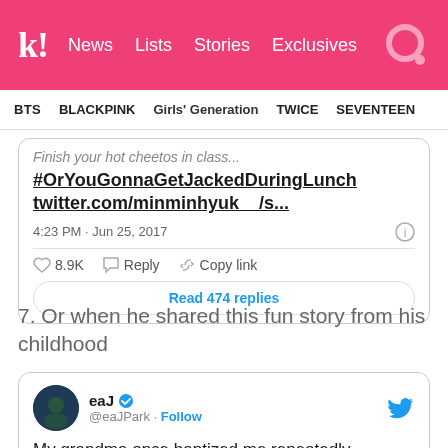kl! News Lists Stories Exclusives
BTS BLACKPINK Girls' Generation TWICE SEVENTEEN
[Figure (screenshot): Twitter/X embedded tweet showing hashtag #OrYouGonnaGetJackedDuringLunch and twitter.com/minminhyuk__/s... with timestamp 4:23 PM · Jun 25, 2017, 8.9K likes, Reply, Copy link, Read 474 replies]
7. Or when he shared this fun story from his childhood
[Figure (screenshot): Twitter/X embedded tweet from eaJ (@eaJPark) with Follow button saying 'My grandma once baptized me repeatedly']